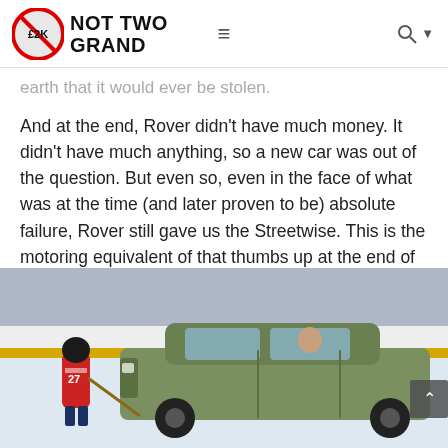NOT TWO GRAND
earth that it would ever be stolen.
And at the end, Rover didn't have much money. It didn't have much anything, so a new car was out of the question. But even so, even in the face of what was at the time (and later proven to be) absolute failure, Rover still gave us the Streetwise. This is the motoring equivalent of that thumbs up at the end of Terminator 2: Judgement Day. One last 'here you go' before inevitable death. And because of that, we kind of like it.
[Figure (photo): A hockey player in red and white uniform skating on ice rink, appearing to strike or push a green Rover Streetwise car on the ice rink, with a person seated inside the car. Blue and yellow boards visible in background.]